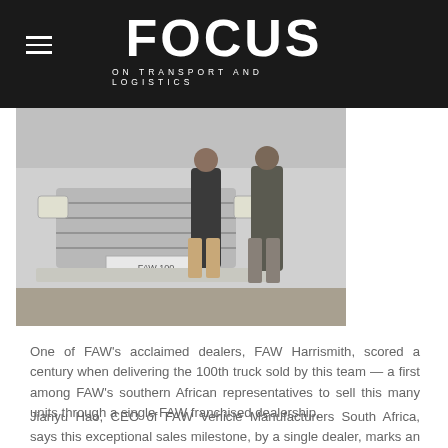FOCUS ON TRANSPORT AND LOGISTICS
[Figure (photo): Two people standing in front of a FAW truck, photographed outdoors on a paved surface. The truck's front bumper and grille are visible in the background.]
One of FAW's acclaimed dealers, FAW Harrismith, scored a century when delivering the 100th truck sold by this team — a first among FAW's southern African representatives to sell this many units through a single FAW franchised dealership.
Jianyu Hao, CEO of FAW Vehicle Manufacturers South Africa, says this exceptional sales milestone, by a single dealer, marks an evolution among the FAW